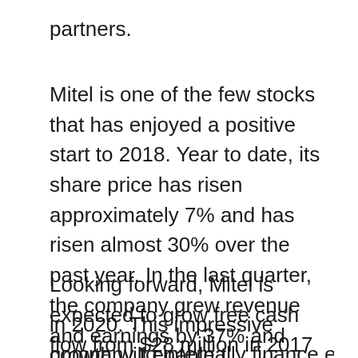partners.
Mitel is one of the few stocks that has enjoyed a positive start to 2018. Year to date, its share price has risen approximately 7% and has risen almost 30% over the past year. In the last quarter, the company grew revenue and earnings by 37% and 22%, respectively. Mitel has aggressively pursued growth through organic expansion and acquisitions. Over the past 10 years, it has made 11 strategic acquisitions.
Looking forward, Mitel is expected to grow free cash flow from $28 million in 2017 to $189 million in 2020. This impressive growth will enable the company to internally finance expansion and